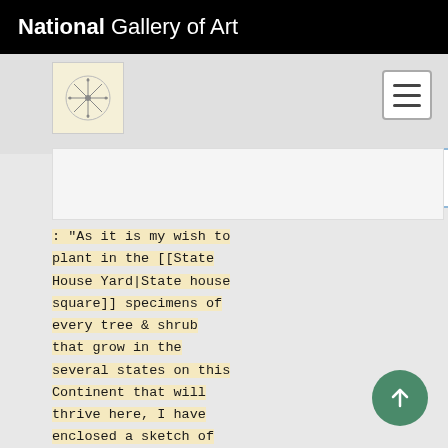National Gallery of Art
[Figure (logo): Small circular botanical illustration logo on cream/yellow background]
: "As it is my wish to plant in the [[State House Yard|State house square]] specimens of every tree & shrub that grow in the several states on this Continent that will thrive here, I have enclosed a sketch of such others as I have been able to procure since the 7th of last month, with a list of such others as have